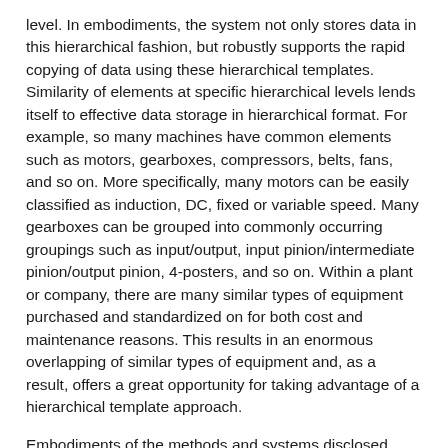level. In embodiments, the system not only stores data in this hierarchical fashion, but robustly supports the rapid copying of data using these hierarchical templates. Similarity of elements at specific hierarchical levels lends itself to effective data storage in hierarchical format. For example, so many machines have common elements such as motors, gearboxes, compressors, belts, fans, and so on. More specifically, many motors can be easily classified as induction, DC, fixed or variable speed. Many gearboxes can be grouped into commonly occurring groupings such as input/output, input pinion/intermediate pinion/output pinion, 4-posters, and so on. Within a plant or company, there are many similar types of equipment purchased and standardized on for both cost and maintenance reasons. This results in an enormous overlapping of similar types of equipment and, as a result, offers a great opportunity for taking advantage of a hierarchical template approach.
Embodiments of the methods and systems disclosed herein may include smart bands. Smart bands refer to any processed signal characteristics derived from any dynamic input or group of inputs for the purposes of analyzing the data and achieving the correct diagnoses.